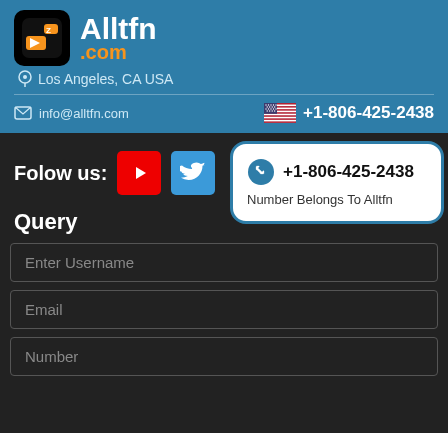[Figure (logo): Alltfn.com logo with orange icon on black background]
Alltfn .com
Los Angeles, CA USA
info@alltfn.com
+1-806-425-2438
Folow us:
[Figure (logo): YouTube icon button (red)]
[Figure (logo): Twitter icon button (blue)]
+1-806-425-2438
Number Belongs To Alltfn
Query
Enter Username
Email
Number